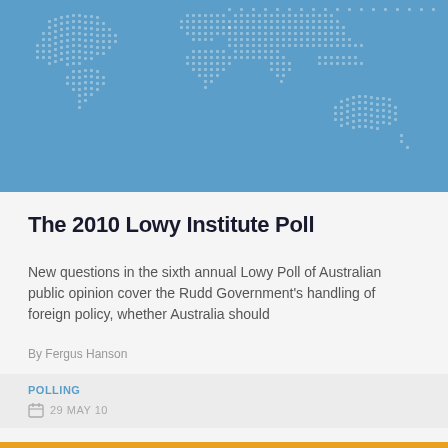[Figure (map): World map graphic with dotted/halftone white continents on a medium blue background, with Australia visible near the center-right.]
The 2010 Lowy Institute Poll
New questions in the sixth annual Lowy Poll of Australian public opinion cover the Rudd Government's handling of foreign policy, whether Australia should
By Fergus Hanson
POLLING
29 MAY 10